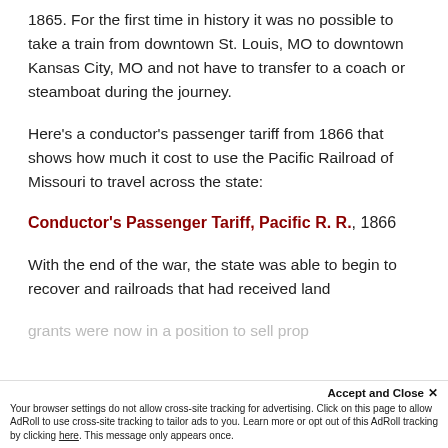1865.  For the first time in history it was no possible to take a train from downtown St. Louis, MO to downtown Kansas City, MO and not have to transfer to a coach or steamboat during the journey.
Here's a conductor's passenger tariff from 1866 that shows how much it cost to use the Pacific Railroad of Missouri to travel across the state:
Conductor's Passenger Tariff, Pacific R. R., 1866
With the end of the war, the state was able to begin to recover and railroads that had received land grants were now in a position to sell prop…
Accept and Close ✕
Your browser settings do not allow cross-site tracking for advertising. Click on this page to allow AdRoll to use cross-site tracking to tailor ads to you. Learn more or opt out of this AdRoll tracking by clicking here. This message only appears once.